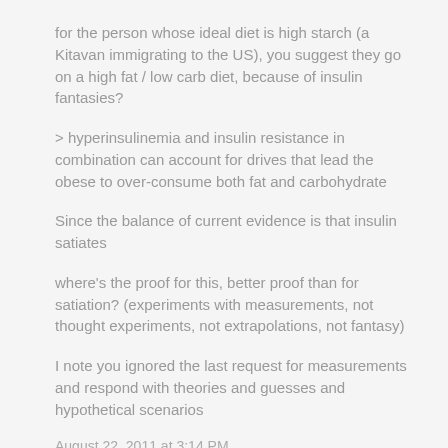for the person whose ideal diet is high starch (a Kitavan immigrating to the US), you suggest they go on a high fat / low carb diet, because of insulin fantasies?
> hyperinsulinemia and insulin resistance in combination can account for drives that lead the obese to over-consume both fat and carbohydrate
Since the balance of current evidence is that insulin satiates
where's the proof for this, better proof than for satiation? (experiments with measurements, not thought experiments, not extrapolations, not fantasy)
I note you ignored the last request for measurements and respond with theories and guesses and hypothetical scenarios
August 22, 2011 at 3:14 PM